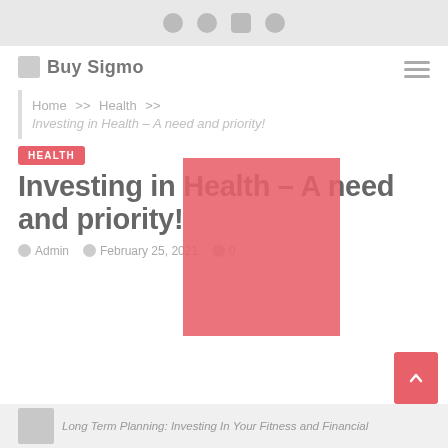Social icons bar (Facebook, Twitter, LinkedIn, RSS)
Buy Sigmo
Home >> Health >> Investing in Health – A need and priority!
[Figure (photo): Red/coral colored hero image overlay block]
HEALTH
Investing in Health – A need and priority!
Admin   February 25, 2021   0
[Figure (photo): Thumbnail image for article: Long Term Planning: Investing In Your Fitness and Financial]